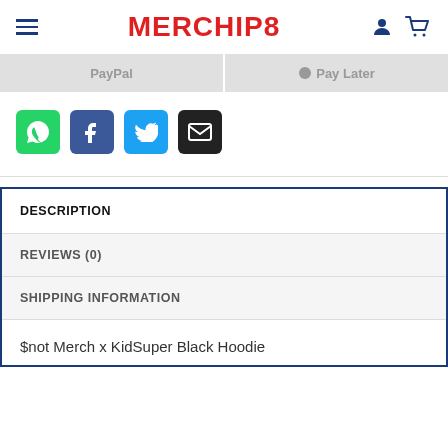MERCHIP8
[Figure (screenshot): PayPal and Pay Later payment buttons, greyed out]
[Figure (infographic): Social sharing icons: WhatsApp (green), Facebook (blue), Twitter (blue), Email (black)]
DESCRIPTION
REVIEWS (0)
SHIPPING INFORMATION
$not Merch x KidSuper Black Hoodie